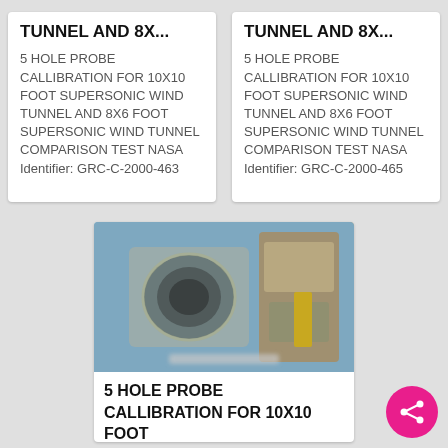TUNNEL AND 8X...
5 HOLE PROBE CALLIBRATION FOR 10X10 FOOT SUPERSONIC WIND TUNNEL AND 8X6 FOOT SUPERSONIC WIND TUNNEL COMPARISON TEST NASA
Identifier: GRC-C-2000-463
TUNNEL AND 8X...
5 HOLE PROBE CALLIBRATION FOR 10X10 FOOT SUPERSONIC WIND TUNNEL AND 8X6 FOOT SUPERSONIC WIND TUNNEL COMPARISON TEST NASA
Identifier: GRC-C-2000-465
[Figure (photo): Photo of a 5 hole probe instrument, showing a cylindrical metallic tube/probe tip against a blue background, with another probe visible on the right side.]
5 HOLE PROBE CALLIBRATION FOR 10X10 FOOT